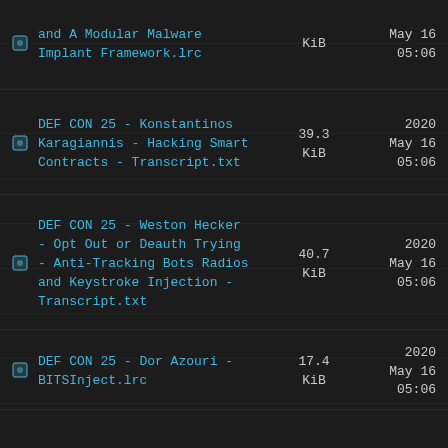and A Modular Malware Implant Framework.lrc | KiB | May 16 05:06
DEF CON 25 - Konstantinos Karagiannis - Hacking Smart Contracts - Transcript.txt | 39.3 KiB | 2020 May 16 05:06
DEF CON 25 - Weston Hecker - Opt Out or Deauth Trying - Anti-Tracking Bots Radios and Keystroke Injection - Transcript.txt | 40.7 KiB | 2020 May 16 05:06
DEF CON 25 - Dor Azouri - BITSInject.lrc | 17.4 KiB | 2020 May 16 05:06
DEF CON 25 - Andrea Matwyshyn and Panel - Panel- Meet The Feds - Transcript.txt | 71.7 KiB | 2020 May 16 05:06
DEF CON 25 - Octane - Untrustworthy Hardware and | 19.6 | 2020